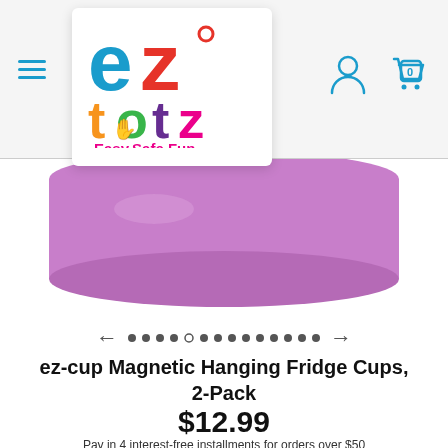[Figure (logo): EZ Totz logo with colorful letters 'ez' and 'totz' and tagline 'Easy.Safe.Fun.' on white card with drop shadow]
[Figure (photo): Bottom portion of a purple cup/container, the ez-cup Magnetic Hanging Fridge Cup product]
[Figure (other): Carousel navigation with left arrow, dots (one open circle indicating current slide), and right arrow]
ez-cup Magnetic Hanging Fridge Cups, 2-Pack
$12.99
Pay in 4 interest-free installments for orders over $50